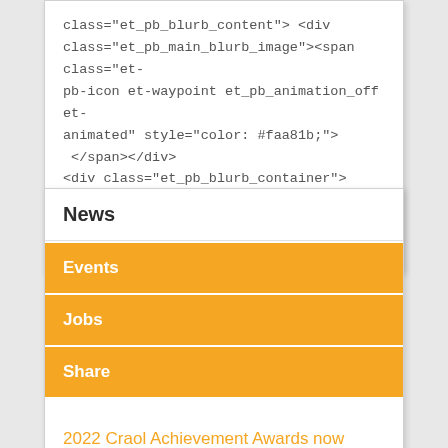class="et_pb_blurb_content"> <div class="et_pb_main_blurb_image"><span class="et-pb-icon et-waypoint et_pb_animation_off et-animated" style="color: #faa81b;">  </span></div> <div class="et_pb_blurb_container"> <h4>eolas@raidionalife.ie</h4> </div> </div> <!-- .et_pb_blurb_content --> </div>
News
Events
Jobs
Share
2022 Craol Achievement Awards now open for submissions